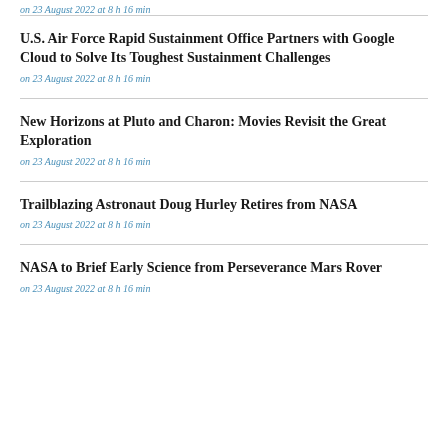on 23 August 2022 at 8 h 16 min
U.S. Air Force Rapid Sustainment Office Partners with Google Cloud to Solve Its Toughest Sustainment Challenges
on 23 August 2022 at 8 h 16 min
New Horizons at Pluto and Charon: Movies Revisit the Great Exploration
on 23 August 2022 at 8 h 16 min
Trailblazing Astronaut Doug Hurley Retires from NASA
on 23 August 2022 at 8 h 16 min
NASA to Brief Early Science from Perseverance Mars Rover
on 23 August 2022 at 8 h 16 min